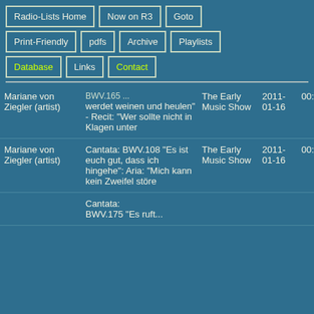Radio-Lists Home
Now on R3
Goto
Print-Friendly
pdfs
Archive
Playlists
Database
Links
Contact
| Artist | Title | Show | Date | Time |
| --- | --- | --- | --- | --- |
| Mariane von Ziegler (artist) | ...werdet weinen und heulen" - Recit: "Wer sollte nicht in Klagen unter | The Early Music Show | 2011-01-16 | 00:0 |
| Mariane von Ziegler (artist) | Cantata: BWV.108 "Es ist euch gut, dass ich hingehe": Aria: "Mich kann kein Zweifel störe | The Early Music Show | 2011-01-16 | 00:0 |
|  | Cantata: BWV.175 "Es ruft... |  |  |  |